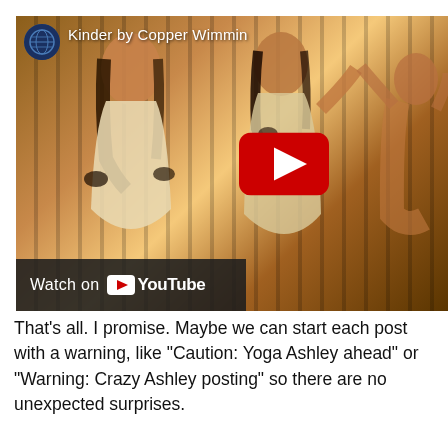[Figure (screenshot): YouTube video thumbnail showing 'Kinder by Copper Wimmin' with two or three women dancing in sepia/golden tones. A YouTube play button is visible center-right, and a 'Watch on YouTube' bar is at the bottom left.]
That's all. I promise. Maybe we can start each post with a warning, like "Caution: Yoga Ashley ahead" or "Warning: Crazy Ashley posting" so there are no unexpected surprises.